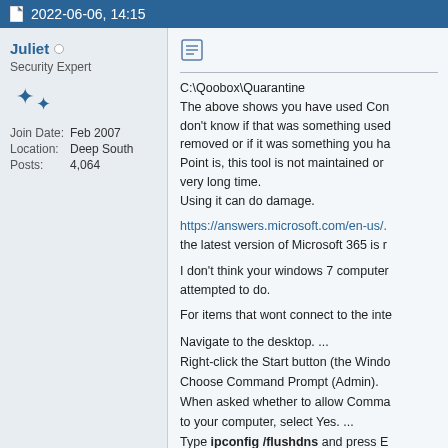2022-06-06, 14:15
Juliet
Security Expert
Join Date: Feb 2007
Location: Deep South
Posts: 4,064
C:\Qoobox\Quarantine
The above shows you have used Con don't know if that was something used removed or if it was something you ha Point is, this tool is not maintained or very long time.
Using it can do damage.

https://answers.microsoft.com/en-us/. the latest version of Microsoft 365 is r

I don't think your windows 7 computer attempted to do.

For items that wont connect to the inte

Navigate to the desktop. ...
Right-click the Start button (the Windo Choose Command Prompt (Admin).
When asked whether to allow Comma to your computer, select Yes. ...
Type ipconfig /flushdns and press E between ipconfig and the /
Type ipconfig /registerdns and press between ipconfig and the /